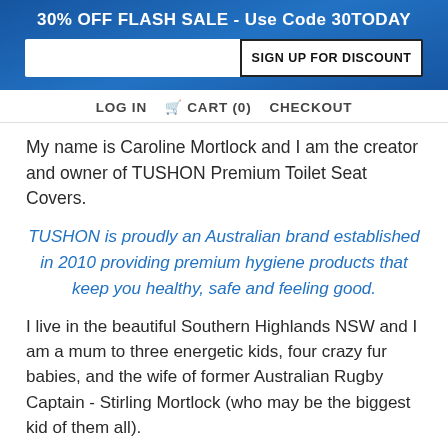30% OFF FLASH SALE - Use Code 30TODAY
SIGN UP FOR DISCOUNT
LOG IN  CART (0)  CHECKOUT
My name is Caroline Mortlock and I am the creator and owner of TUSHON Premium Toilet Seat Covers.
TUSHON is proudly an Australian brand established in 2010 providing premium hygiene products that keep you healthy, safe and feeling good.
I live in the beautiful Southern Highlands NSW and I am a mum to three energetic kids, four crazy fur babies, and the wife of former Australian Rugby Captain - Stirling Mortlock (who may be the biggest kid of them all).
I created TUSHON because I really disliked...